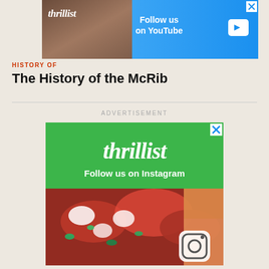[Figure (screenshot): Thrillist YouTube advertisement banner at the top showing a man with food and 'Follow us on YouTube' text with play button]
HISTORY OF
The History of the McRib
ADVERTISEMENT
[Figure (screenshot): Thrillist Instagram advertisement showing the Thrillist logo in white on green background with 'Follow us on Instagram' text and a food photo below with an Instagram icon]